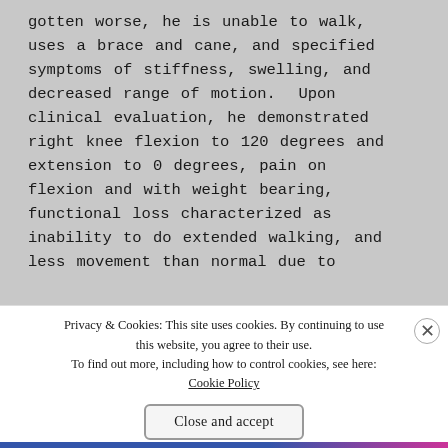gotten worse, he is unable to walk, uses a brace and cane, and specified symptoms of stiffness, swelling, and decreased range of motion.  Upon clinical evaluation, he demonstrated right knee flexion to 120 degrees and extension to 0 degrees, pain on flexion and with weight bearing, functional loss characterized as inability to do extended walking, and less movement than normal due to
Privacy & Cookies: This site uses cookies. By continuing to use this website, you agree to their use.
To find out more, including how to control cookies, see here:
Cookie Policy